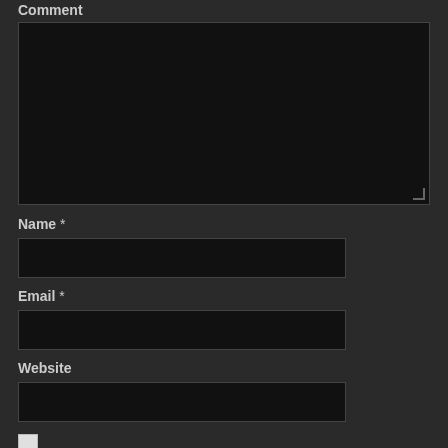Comment
[Figure (screenshot): Dark-themed comment form with textarea for comment, input fields for Name, Email, Website, a save-info checkbox, and a Post Comment button.]
Name *
Email *
Website
Save my name, email, and website in this browser for the next time I comment.
Post Comment